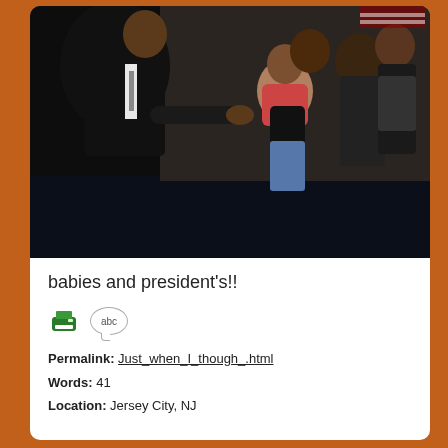[Figure (photo): A man in a dark suit leaning forward toward a small baby being held up by people in a crowd. The scene appears to be at a public event with several people visible in the background.]
babies and president's!!
Permalink: Just_when_I_though_.html
Words: 41
Location: Jersey City, NJ